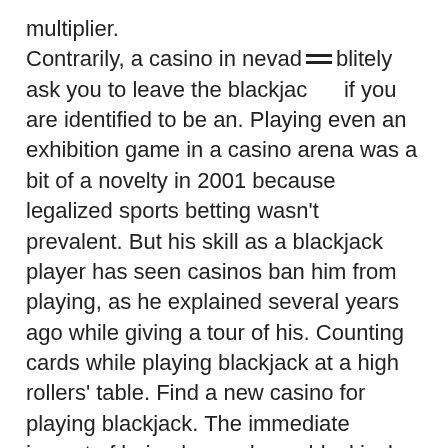multiplier. Contrarily, a casino in nevada [menu icon] blitely ask you to leave the blackjac[k table] if you are identified to be an. Playing even an exhibition game in a casino arena was a bit of a novelty in 2001 because legalized sports betting wasn't prevalent. But his skill as a blackjack player has seen casinos ban him from playing, as he explained several years ago while giving a tour of his. Counting cards while playing blackjack at a high rollers' table. Find a new casino for playing blackjack. The immediate impact of being banned as a blackjack card counter is the same in any case. I find it hilarious that casinos will ban people for being good at a game. It really sums up the mentality of the casino, and is why i will never give any. Cnn, citing an anonymous source close to affleck, reported the the actor was "banned from playing blackjack at the hard rock casino in